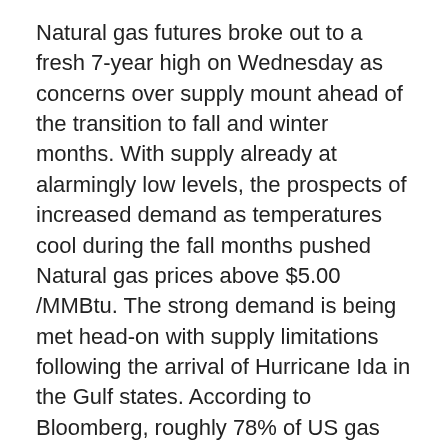Natural gas futures broke out to a fresh 7-year high on Wednesday as concerns over supply mount ahead of the transition to fall and winter months. With supply already at alarmingly low levels, the prospects of increased demand as temperatures cool during the fall months pushed Natural gas prices above $5.00 /MMBtu. The strong demand is being met head-on with supply limitations following the arrival of Hurricane Ida in the Gulf states. According to Bloomberg, roughly 78% of US gas production remains offline in the Gulf of Mexico region.
The steep rise in natural gas prices is just one of a myriad of factors driving the debate on inflation, as consumers once again wonder whether recent price increases are beginning to be more structural than transitory. Higher gas prices could present a significant challenge to the Fed's goal of reviving the US economy, with soaring energy costs potentially limiting overall household spending. A